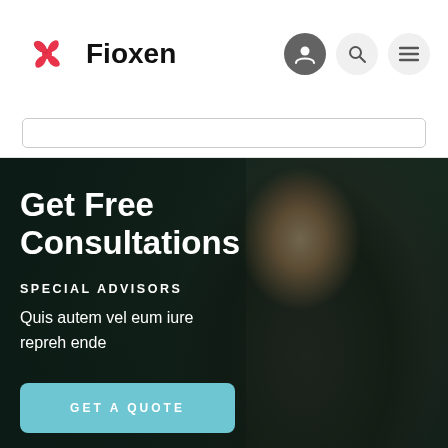Fioxen
[Figure (screenshot): Fioxen website hero section with a woman smiling wearing glasses and a denim jacket, with text overlay 'Get Free Consultations' and a 'GET A QUOTE' button]
Get Free Consultations
SPECIAL ADVISORS
Quis autem vel eum iure repreh ende
GET A QUOTE